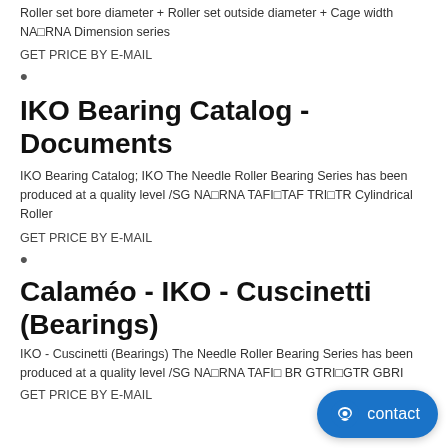Roller set bore diameter + Roller set outside diameter + Cage width NA□RNA Dimension series
GET PRICE BY E-MAIL
•
IKO Bearing Catalog - Documents
IKO Bearing Catalog; IKO The Needle Roller Bearing Series has been produced at a quality level /SG NA□RNA TAFI□TAF TRI□TR Cylindrical Roller
GET PRICE BY E-MAIL
•
Calaméo - IKO - Cuscinetti (Bearings)
IKO - Cuscinetti (Bearings) The Needle Roller Bearing Series has been produced at a quality level /SG NA□RNA TAFI□ BR GTRI□GTR GBRI
GET PRICE BY E-MAIL